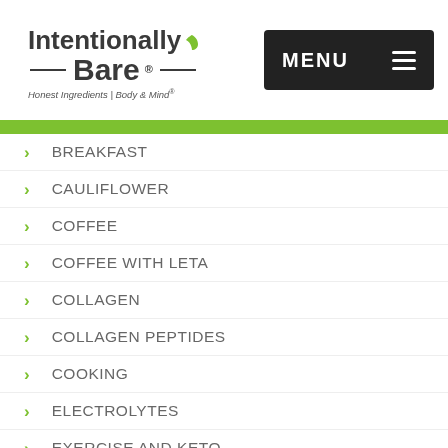[Figure (logo): Intentionally Bare logo with leaf graphic and tagline 'Honest Ingredients | Body & Mind']
BREAKFAST
CAULIFLOWER
COFFEE
COFFEE WITH LETA
COLLAGEN
COLLAGEN PEPTIDES
COOKING
ELECTROLYTES
EXERCISE AND KETO
FAMILY
FASTING ON KETO
FATS